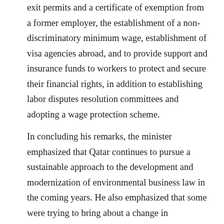exit permits and a certificate of exemption from a former employer, the establishment of a non-discriminatory minimum wage, establishment of visa agencies abroad, and to provide support and insurance funds to workers to protect and secure their financial rights, in addition to establishing labor disputes resolution committees and adopting a wage protection scheme.
In concluding his remarks, the minister emphasized that Qatar continues to pursue a sustainable approach to the development and modernization of environmental business law in the coming years. He also emphasized that some were trying to bring about a change in employment at the end of the 2022 FIFA World Cup,